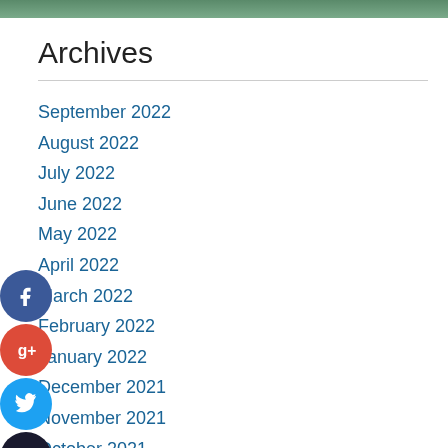[Figure (photo): Green nature image strip at top]
Archives
September 2022
August 2022
July 2022
June 2022
May 2022
April 2022
March 2022
February 2022
January 2022
December 2021
November 2021
October 2021
September 2021